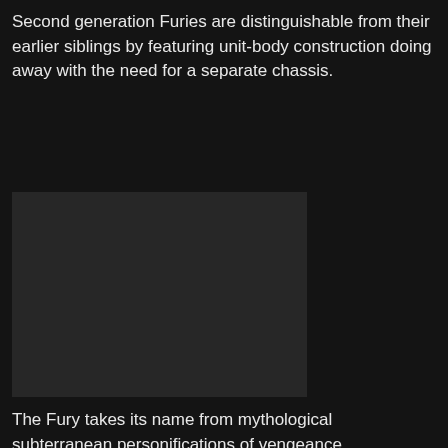Second generation Furies are distinguishable from their earlier siblings by featuring unit-body construction doing away with the need for a separate chassis.
[Figure (photo): A dark rectangular image placeholder, possibly showing a vehicle photo.]
The Fury takes its name from mythological subterranean personifications of vengeance.
[Figure (photo): A dark rectangular image placeholder, possibly showing another vehicle photo.]